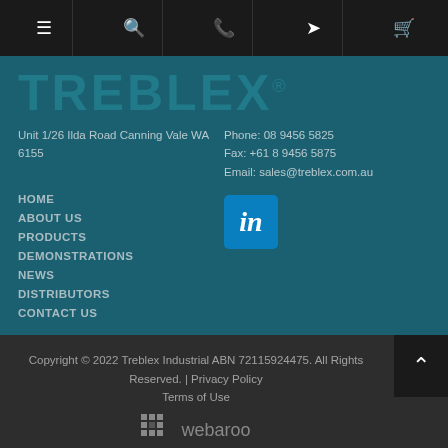[navigation icons: menu, search, phone, login, cart]
[Figure (logo): TREBLEX® logo in large bold teal text on dark teal background]
Unit 1/26 Ilda Road Canning Vale WA 6155
Phone: 08 9456 5825
Fax: +61 8 9456 5875
Email: sales@treblex.com.au
HOME
ABOUT US
PRODUCTS
DEMONSTRATIONS
NEWS
DISTRIBUTORS
CONTACT US
[Figure (logo): LinkedIn icon — white 'in' on blue rounded square background]
Copyright © 2022 Treblex Industrial ABN 72115924475. All Rights Reserved. | Privacy Policy
Terms of Use
[Figure (logo): Webaroo logo with pixel-grid dots and text 'webaroo']